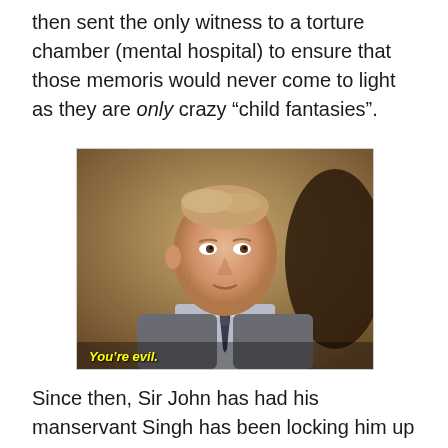then sent the only witness to a torture chamber (mental hospital) to ensure that those memoris would never come to light as they are only crazy “child fantasies”.
[Figure (photo): A middle-aged man in a grey suit and tie looking at the camera, with subtitle text 'You’re evil.' overlaid at the bottom.]
Since then, Sir John has had his manservant Singh has been locking him up so he doesn’t wreck havoc anymore. However, Ben was planning to leave with Gwen once they were married and this enraged Sir John. He wasn’t locked